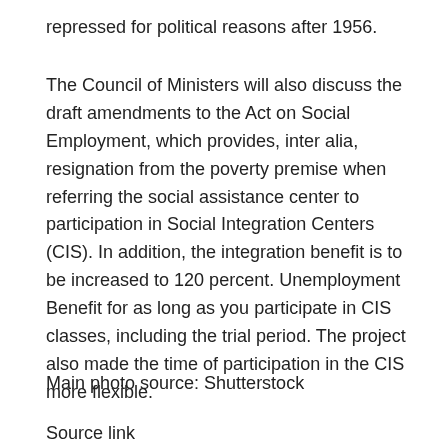repressed for political reasons after 1956.
The Council of Ministers will also discuss the draft amendments to the Act on Social Employment, which provides, inter alia, resignation from the poverty premise when referring the social assistance center to participation in Social Integration Centers (CIS). In addition, the integration benefit is to be increased to 120 percent. Unemployment Benefit for as long as you participate in CIS classes, including the trial period. The project also made the time of participation in the CIS more flexible.
Main photo source: Shutterstock
Source link